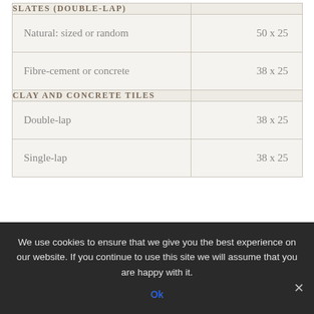|  |  |
| --- | --- |
| SLATES (DOUBLE-LAP) |  |
| Natural: sized or random | 50 x 25 |
| Fibre-cement or concrete | 38 x 25 |
| CLAY AND CONCRETE TILES |  |
| Double-lap | 38 x 25 |
| Single-lap | 38 x 25 |
We use cookies to ensure that we give you the best experience on our website. If you continue to use this site we will assume that you are happy with it.
Ok